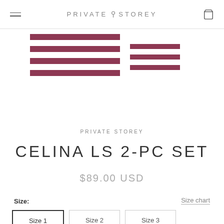PRIVATE ⚑ STOREY
[Figure (photo): Partial view of striped fabric product (Celina LS 2-PC Set) in burgundy/wine and white horizontal stripes, cropped at top of page]
PRIVATE STOREY
CELINA LS 2-PC SET
$89.00 USD
Size:
Size chart
Size 1
Size 2
Size 3